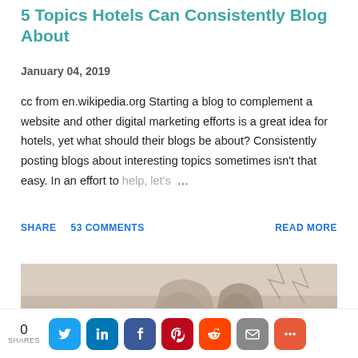5 Topics Hotels Can Consistently Blog About
January 04, 2019
cc from en.wikipedia.org Starting a blog to complement a website and other digital marketing efforts is a great idea for hotels, yet what should their blogs be about? Consistently posting blogs about interesting topics sometimes isn't that easy. In an effort to help, let's …
SHARE   53 COMMENTS   READ MORE
[Figure (photo): Partial photo of people, likely two women, cropped at bottom of page]
0 SHARES